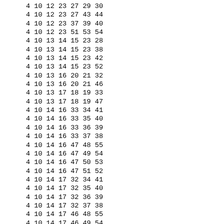4 10 12 23 27 29 30
4 10 12 23 27 43 44
4 10 12 23 37 39 40
4 10 12 23 51 53 54
4 10 13 14 15 23 28
4 10 13 14 15 23 38
4 10 13 14 15 23 42
4 10 13 14 15 23 52
4 10 13 16 20 21 32
4 10 13 16 20 21 46
4 10 13 17 18 19 33
4 10 13 17 18 19 47
4 10 14 16 33 34 41
4 10 14 16 33 35 40
4 10 14 16 33 36 39
4 10 14 16 33 37 38
4 10 14 16 47 48 55
4 10 14 16 47 49 54
4 10 14 16 47 50 53
4 10 14 16 47 51 52
4 10 14 17 32 34 41
4 10 14 17 32 35 40
4 10 14 17 32 36 39
4 10 14 17 32 37 38
4 10 14 17 46 48 55
4 10 14 17 46 49 54
4 10 14 17 46 50 53
4 10 14 17 46 51 52
4 10 14 18 21 24 31
4 10 14 18 21 24 45